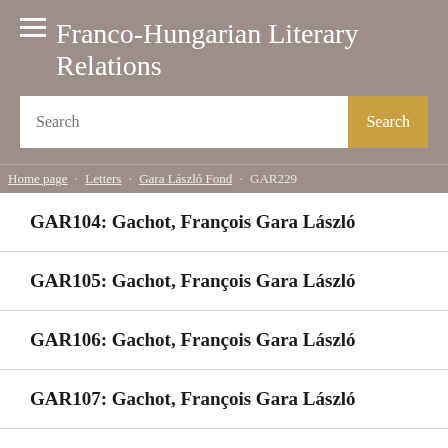Franco-Hungarian Literary Relations
Search
Home page > Letters > Gara László Fond > GAR229
GAR104: Gachot, François Gara László
GAR105: Gachot, François Gara László
GAR106: Gachot, François Gara László
GAR107: Gachot, François Gara László
GAR108: Gachot, François Gara László